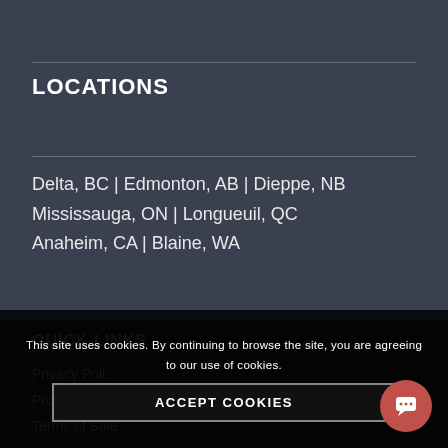LOCATIONS
Delta, BC | Edmonton, AB | Dieppe, NB
Mississauga, ON | Longueuil, QC
Anaheim, CA | Blaine, WA
QUICK LINKS
Privacy Poli...
Product Wa...
Terms of Sale
This site uses cookies. By continuing to browse the site, you are agreeing to our use of cookies.
ACCEPT COOKIES